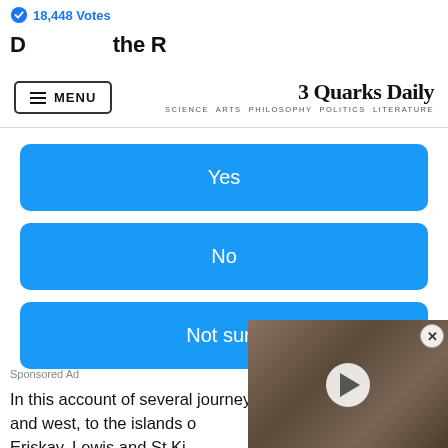18,448 Votes
D... the R... (partial title, clipped)
MENU | 3 Quarks Daily — SCIENCE ARTS PHILOSOPHY POLITICS LITERATURE
Yes
No
Not sure
Sponsored Ad
In this account of several journeys to the north and west, to the islands of Eriskay, Lewis and St Ki... demonstrates with vivid... manuscript illuminator o...
[Figure (screenshot): Video thumbnail overlay showing an animal (possibly a small mammal or reptile) with a play button in the center and a close button in the top-right corner]